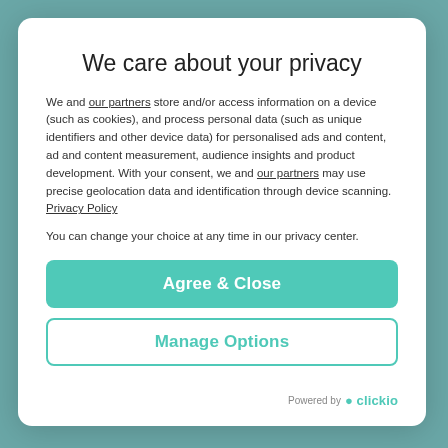We care about your privacy
We and our partners store and/or access information on a device (such as cookies), and process personal data (such as unique identifiers and other device data) for personalised ads and content, ad and content measurement, audience insights and product development. With your consent, we and our partners may use precise geolocation data and identification through device scanning. Privacy Policy
You can change your choice at any time in our privacy center.
Agree & Close
Manage Options
Powered by clickio